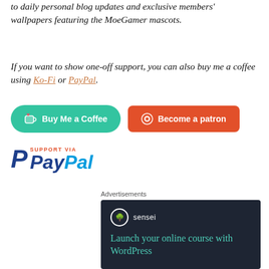to daily personal blog updates and exclusive members' wallpapers featuring the MoeGamer mascots.
If you want to show one-off support, you can also buy me a coffee using Ko-Fi or PayPal.
[Figure (other): Buy Me a Coffee button (green pill-shaped) and Become a patron button (orange rounded rectangle)]
[Figure (logo): PayPal logo with 'SUPPORT VIA' text above in red uppercase letters]
Advertisements
[Figure (screenshot): Sensei advertisement on dark background: sensei logo and 'Launch your online course with WordPress' headline in teal color]